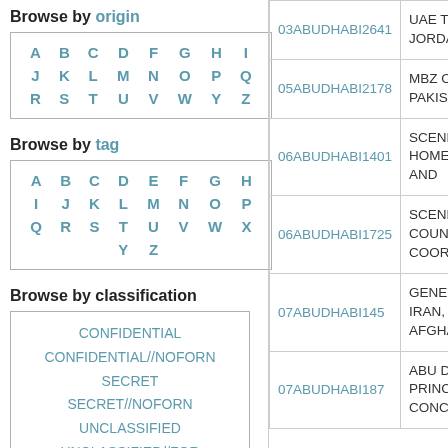Browse by origin
| A | B | C | D | F | G | H | I |
| J | K | L | M | N | O | P | Q |
| R | S | T | U | V | W | Y | Z |
Browse by tag
| A | B | C | D | E | F | G | H |
| I | J | K | L | M | N | O | P |
| Q | R | S | T | U | V | W | X |
|  |  |  | Y | Z |  |  |  |
Browse by classification
CONFIDENTIAL
CONFIDENTIAL//NOFORN
SECRET
SECRET//NOFORN
UNCLASSIFIED
UNCLASSIFIED//FOR
OFFICIAL USE ONLY
Community resources
Follow us on Twitter
Check our Reddit
| Cable ID | Description |
| --- | --- |
| 03ABUDHABI2641 | UAE TO
JORDA |
| 05ABUDHABI2178 | MBZ ON
PAKISTA |
| 06ABUDHABI1401 | SCENE:
HOMEL
AND |
| 06ABUDHABI1725 | SCENE:
COUNT
COORD |
| 07ABUDHABI145 | GENER
IRAN, IR
AFGHA |
| 07ABUDHABI187 | ABU DH
PRINCE
CONCE |